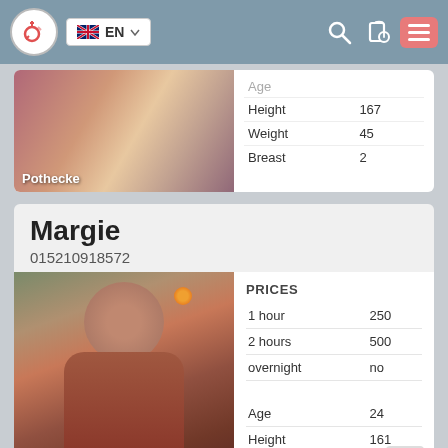EN
Pothecke
|  |  |
| --- | --- |
| Age |  |
| Height | 167 |
| Weight | 45 |
| Breast | 2 |
Margie
015210918572
[Figure (photo): Woman in red halter top with orange flower in hair]
| PRICES |  |
| --- | --- |
| 1 hour | 250 |
| 2 hours | 500 |
| overnight | no |
| Age | 24 |
| Height | 161 |
| Weight | 45 |
| Breast | 2 |